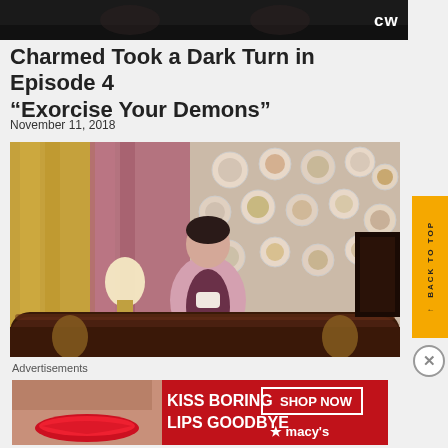[Figure (screenshot): Dark TV screenshot with CW network logo in top right corner]
Charmed Took a Dark Turn in Episode 4 “Exorcise Your Demons”
November 11, 2018
[Figure (photo): A woman in pink jacket sitting at an ornate desk holding a teacup, with decorative plates on the wall behind her]
Advertisements
[Figure (photo): Advertisement banner: KISS BORING LIPS GOODBYE - SHOP NOW - macys]